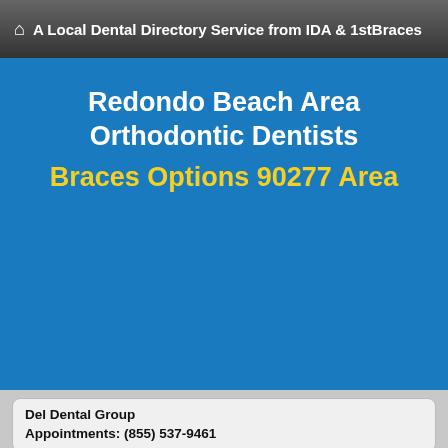A Local Dental Directory Service from IDA & 1stBraces
Redondo Beach Area Orthodontic Dentists
Braces Options 90277 Area
Del Dental Group
Appointments: (855) 537-9461